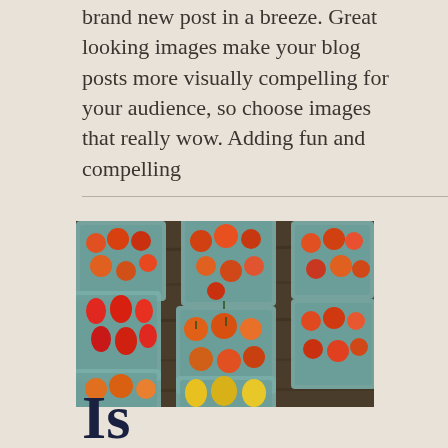brand new post in a breeze. Great looking images make your blog posts more visually compelling for your audience, so choose images that really wow. Adding fun and compelling
[Figure (photo): Overhead photo of multiple blue cardboard pint containers filled with various cherry tomatoes — red, orange, and yellow varieties — arranged on a dark wooden surface at a farmers market.]
Is